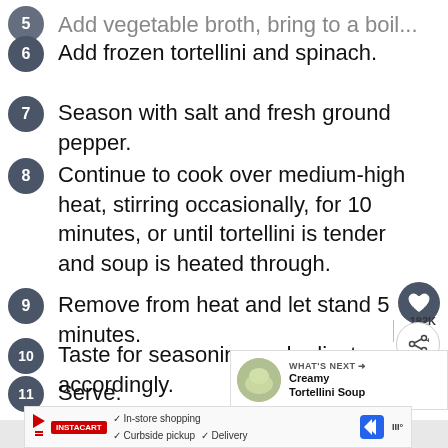Add vegetable broth, bring to a boil... (partial, cut off at top)
6 Add frozen tortellini and spinach.
7 Season with salt and fresh ground pepper.
8 Continue to cook over medium-high heat, stirring occasionally, for 10 minutes, or until tortellini is tender and soup is heated through.
9 Remove from heat and let stand 5 minutes.
10 Taste for seasoning and adjust accordingly.
11 Serve.
182K
WHAT'S NEXT → Creamy Tortellini Soup
In-store shopping  Curbside pickup  Delivery